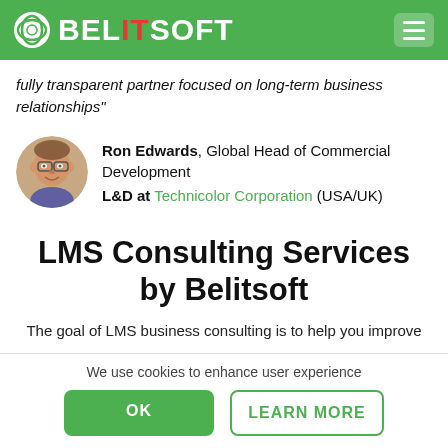BELITSOFT
fully transparent partner focused on long-term business relationships"
[Figure (photo): Circular headshot photo of Ron Edwards]
Ron Edwards, Global Head of Commercial Development
L&D at Technicolor Corporation (USA/UK)
LMS Consulting Services by Belitsoft
The goal of LMS business consulting is to help you improve
We use cookies to enhance user experience
OK    LEARN MORE